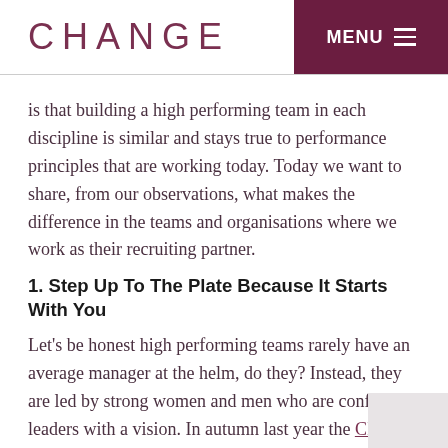CHANGE   MENU
is that building a high performing team in each discipline is similar and stays true to performance principles that are working today. Today we want to share, from our observations, what makes the difference in the teams and organisations where we work as their recruiting partner.
1. Step Up To The Plate Because It Starts With You
Let's be honest high performing teams rarely have an average manager at the helm, do they? Instead, they are led by strong women and men who are confident leaders with a vision. In autumn last year the CIPD produced a report about lack of engagement in our workforce in the UK and the issues it creates.